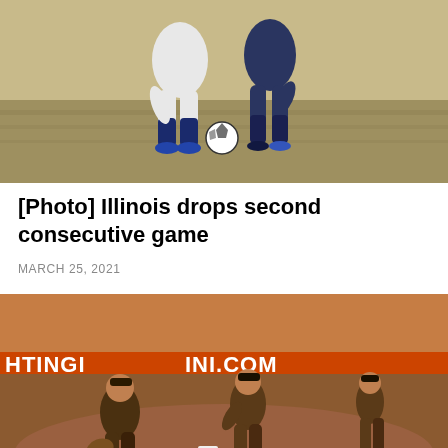[Figure (photo): Soccer players competing for the ball on a grass field. Two players in white uniforms with navy socks battle for possession of a soccer ball.]
[Photo] Illinois drops second consecutive game
MARCH 25, 2021
[Figure (photo): Baseball players on a field with an orange-tinted sky. A fielder and a baserunner near a base, with a 'FIGHTINGILLINI.COM' sign visible in the background.]